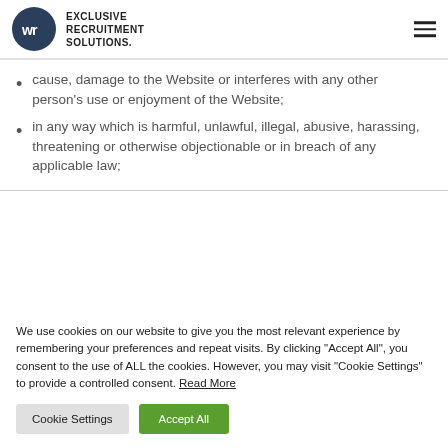[Figure (logo): Exclusive Recruitment Solutions logo with circular WR emblem in dark navy blue and company name text]
cause, damage to the Website or interferes with any other person's use or enjoyment of the Website;
in any way which is harmful, unlawful, illegal, abusive, harassing, threatening or otherwise objectionable or in breach of any applicable law;
We use cookies on our website to give you the most relevant experience by remembering your preferences and repeat visits. By clicking "Accept All", you consent to the use of ALL the cookies. However, you may visit "Cookie Settings" to provide a controlled consent. Read More